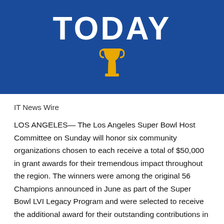[Figure (logo): TODAY logo on blue background with white bold text 'TODAY' and a gold trophy/pedestal icon below it]
IT News Wire
LOS ANGELES— The Los Angeles Super Bowl Host Committee on Sunday will honor six community organizations chosen to each receive a total of $50,000 in grant awards for their tremendous impact throughout the region. The winners were among the original 56 Champions announced in June as part of the Super Bowl LVI Legacy Program and were selected to receive the additional award for their outstanding contributions in the community. The grants aim to help the organizations further their missions and the long-term impact of their work.